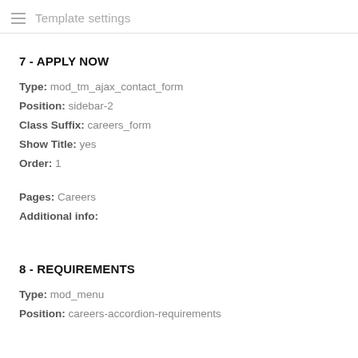Template settings
7 - APPLY NOW
Type: mod_tm_ajax_contact_form
Position: sidebar-2
Class Suffix: careers_form
Show Title: yes
Order: 1
Pages: Careers
Additional info:
8 - REQUIREMENTS
Type: mod_menu
Position: careers-accordion-requirements